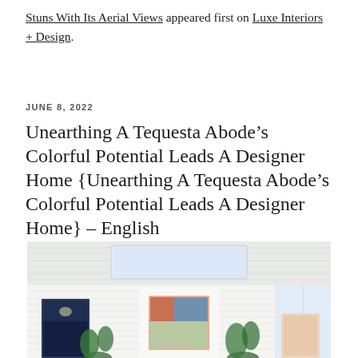Stuns With Its Aerial Views appeared first on Luxe Interiors + Design.
JUNE 8, 2022
Unearthing A Tequesta Abode’s Colorful Potential Leads A Designer Home {Unearthing A Tequesta Abode’s Colorful Potential Leads A Designer Home} – English
[Figure (photo): Interior photo of a bright white room with shiplap walls and ceiling, a recessed rectangular skylight, colorful artworks on the walls, palm plants, and natural light from windows on the right.]